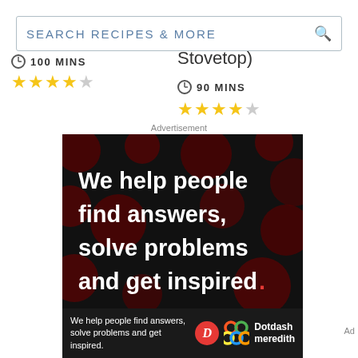[Figure (screenshot): Search bar with placeholder text SEARCH RECIPES & MORE and a magnifying glass icon]
100 MINS
★★★★☆
Stovetop)
90 MINS
★★★★☆
Advertisement
[Figure (photo): Dotdash Meredith advertisement on black background with dark red polka dots pattern. Large white bold text reads: We help people find answers, solve problems and get inspired. LEARN MORE with arrow. Dotdash D logo in red circle and Meredith colorful interconnected circles logo.]